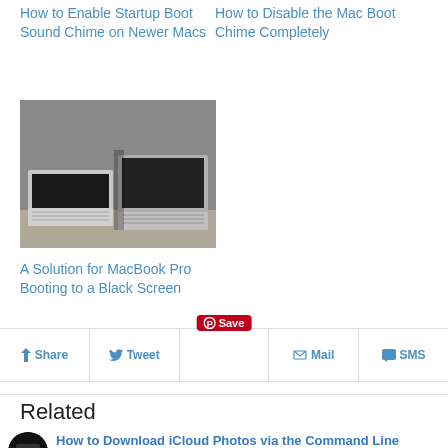How to Enable Startup Boot Sound Chime on Newer Macs
How to Disable the Mac Boot Chime Completely
[Figure (photo): Two MacBook laptops side by side on a desk, one open and one partially open, both with dark screens]
A Solution for MacBook Pro Booting to a Black Screen
Share  Tweet  Save  Mail  SMS
Related
How to Download iCloud Photos via the Command Line